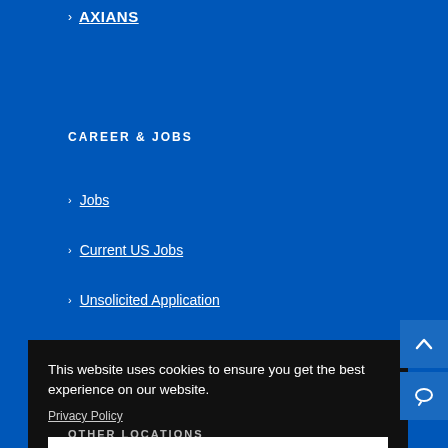> AXIANS
CAREER & JOBS
> Jobs
> Current US Jobs
> Unsolicited Application
This website uses cookies to ensure you get the best experience on our website.
Privacy Policy
Got it
OTHER LOCATIONS